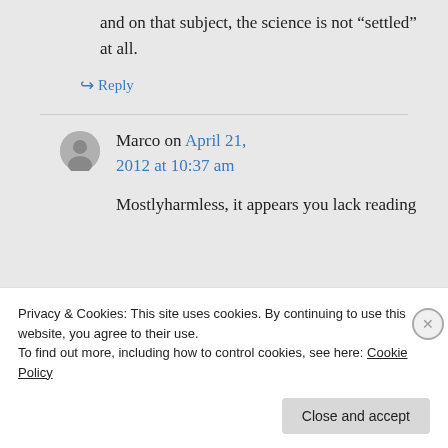and on that subject, the science is not “settled” at all.
↳ Reply
Marco on April 21, 2012 at 10:37 am
Mostlyharmless, it appears you lack reading
Privacy & Cookies: This site uses cookies. By continuing to use this website, you agree to their use.
To find out more, including how to control cookies, see here: Cookie Policy
Close and accept